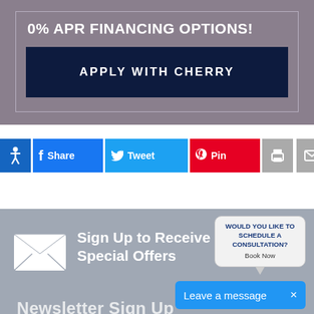0% APR FINANCING OPTIONS!
APPLY WITH CHERRY
[Figure (infographic): Social sharing buttons bar: accessibility icon, Facebook Share, Twitter Tweet, Pinterest Pin, Print, Email]
[Figure (infographic): Newsletter signup section with envelope icon and text: Sign Up to Receive News & Special Offers, and a chat widget bubble saying WOULD YOU LIKE TO SCHEDULE A CONSULTATION? Book Now, with a Leave a message bar]
Sign Up to Receive News & Special Offers
WOULD YOU LIKE TO SCHEDULE A CONSULTATION? Book Now
Leave a message